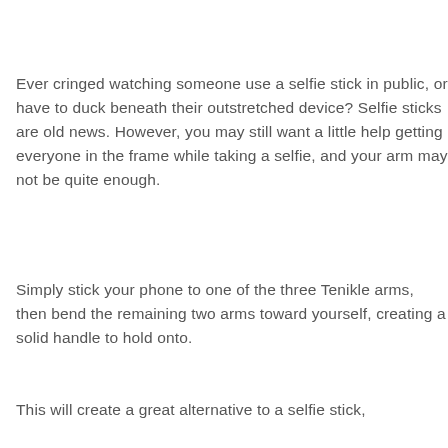Ever cringed watching someone use a selfie stick in public, or have to duck beneath their outstretched device? Selfie sticks are old news. However, you may still want a little help getting everyone in the frame while taking a selfie, and your arm may not be quite enough.
Simply stick your phone to one of the three Tenikle arms, then bend the remaining two arms toward yourself, creating a solid handle to hold onto.
This will create a great alternative to a selfie stick,